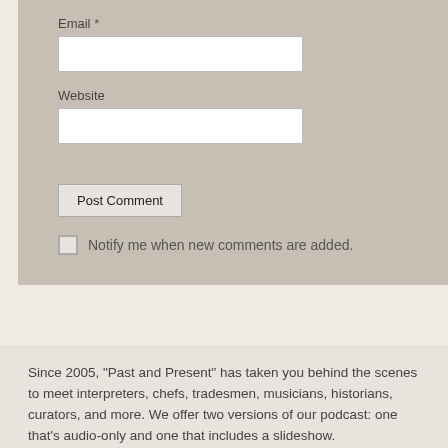Email *
Website
Post Comment
Notify me when new comments are added.
Since 2005, "Past and Present" has taken you behind the scenes to meet interpreters, chefs, tradesmen, musicians, historians, curators, and more. We offer two versions of our podcast: one that's audio-only and one that includes a slideshow.
[Figure (photo): Two people wearing tricorn hats, historical costume interpreters]